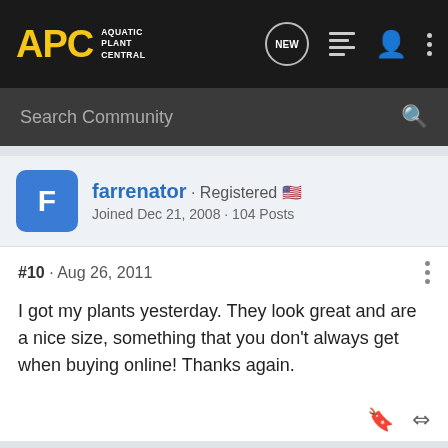APC Aquatic Plant Central
Search Community
farrenator · Registered 🇺🇸
Joined Dec 21, 2008 · 104 Posts
#10 · Aug 26, 2011
I got my plants yesterday. They look great and are a nice size, something that you don't always get when buying online! Thanks again.
asukawashere · Premium Member